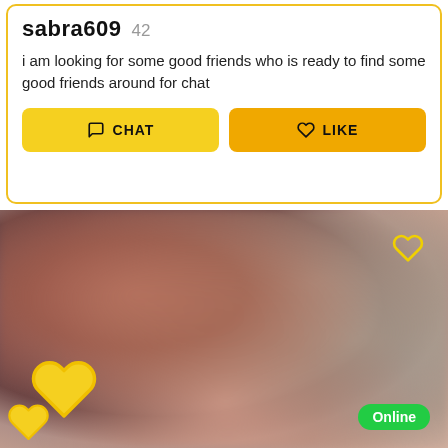sabra609  42
i am looking for some good friends who is ready to find some good friends around for chat
[Figure (screenshot): A blurred photo of a person, with a yellow heart outline icon in top-right corner, two yellow heart icons in bottom-left corner, and an Online green badge in bottom-right corner.]